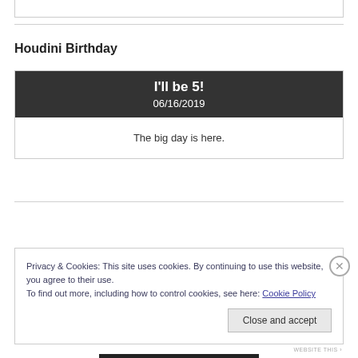Houdini Birthday
[Figure (other): Birthday countdown card with dark header showing 'I'll be 5!' and date 06/16/2019, and body text 'The big day is here.']
Privacy & Cookies: This site uses cookies. By continuing to use this website, you agree to their use. To find out more, including how to control cookies, see here: Cookie Policy
Close and accept